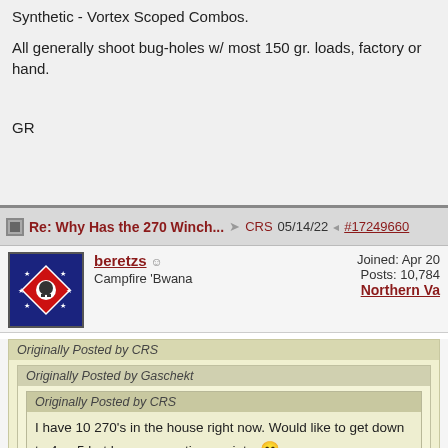Have an old Mr60, a recent Mr6, and two Mossberg Patriot Synthetic - Vortex Scoped Combos.
All generally shoot bug-holes w/ most 150 gr. loads, factory or hand.
GR
Re: Why Has the 270 Winch... CRS 05/14/22 #17249660
beretzs
Campfire 'Bwana
Joined: Apr 20
Posts: 10,784
Northern Va
Originally Posted by CRS
Originally Posted by Gaschekt
Originally Posted by CRS
I have 10 270's in the house right now. Would like to get down to 4 or 5 but have separation anxiety. 😁